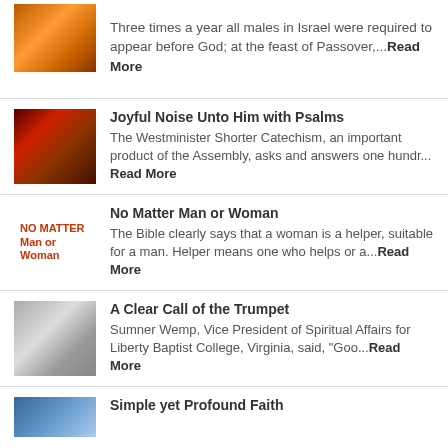Three times a year all males in Israel were required to appear before God; at the feast of Passover,...Read More
Joyful Noise Unto Him with Psalms — The Westminister Shorter Catechism, an important product of the Assembly, asks and answers one hundr... Read More
No Matter Man or Woman — The Bible clearly says that a woman is a helper, suitable for a man. Helper means one who helps or a...Read More
A Clear Call of the Trumpet — Sumner Wemp, Vice President of Spiritual Affairs for Liberty Baptist College, Virginia, said, "Goo...Read More
Simple yet Profound Faith